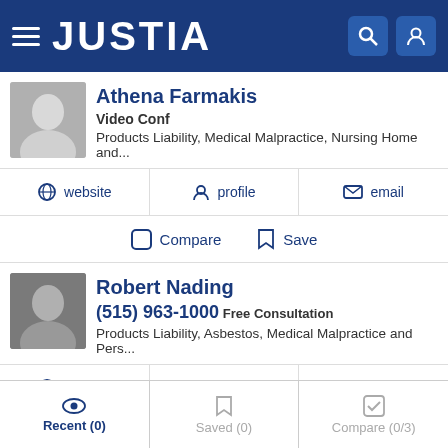JUSTIA
Athena Farmakis
Video Conf
Products Liability, Medical Malpractice, Nursing Home and...
website | profile | email
Compare | Save
Robert Nading
(515) 963-1000 Free Consultation
Products Liability, Asbestos, Medical Malpractice and Pers...
website | profile | email
Compare | Save
Recent (0) | Saved (0) | Compare (0/3)